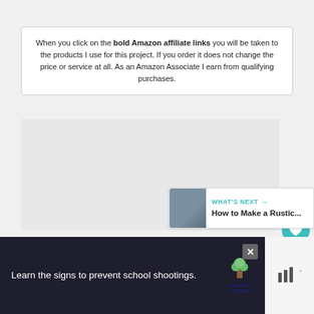When you click on the bold Amazon affiliate links you will be taken to the products I use for this project. If you order it does not change the price or service at all. As an Amazon Associate I earn from qualifying purchases.
[Figure (photo): Large image placeholder area (gray rectangle), with a teal heart/favorite button and a white share button on the right side. A 'WHAT'S NEXT' card appears at the bottom right showing a thumbnail and text 'How to Make a Rustic...']
[Figure (screenshot): Advertisement banner at the bottom: dark background with text 'Learn the signs to prevent school shootings.' alongside a Sandy Hook Promise tree logo. A close (X) button and mute icon are visible.]